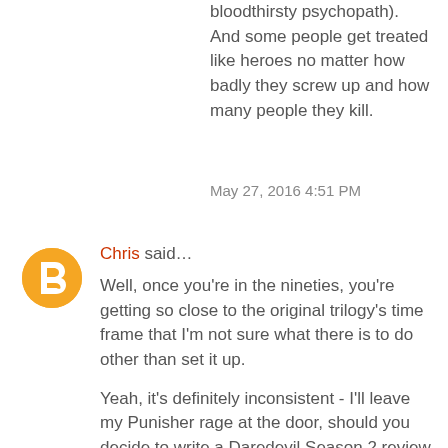bloodthirsty psychopath). And some people get treated like heroes no matter how badly they screw up and how many people they kill.
May 27, 2016 4:51 PM
Chris said…
Well, once you're in the nineties, you're getting so close to the original trilogy's time frame that I'm not sure what there is to do other than set it up.
Yeah, it's definitely inconsistent - I'll leave my Punisher rage at the door, should you decide to write a Daredevil Season 2 review as well. The reason the Rocket line jumped out at me was that it was actually directed at a protagonist, even if it's not the lead protagonist. That makes it different